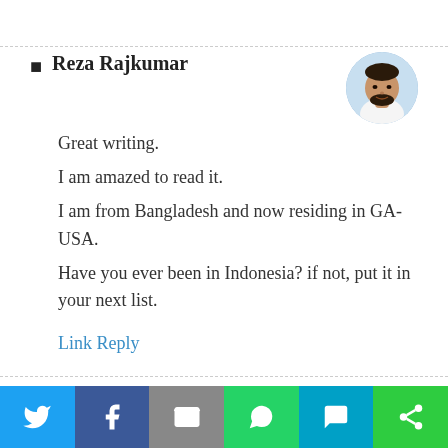Reza Rajkumar
Great writing.
I am amazed to read it.
I am from Bangladesh and now residing in GA-USA.
Have you ever been in Indonesia? if not, put it in your next list.
Link Reply
[Figure (photo): Circular avatar photo of a man with beard]
[Figure (infographic): Share bar with Twitter, Facebook, Email, WhatsApp, SMS, and Share buttons]